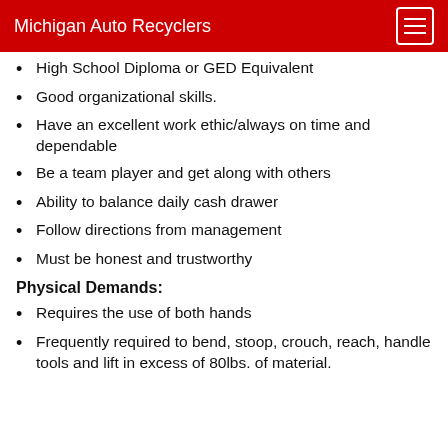Michigan Auto Recyclers
High School Diploma or GED Equivalent
Good organizational skills.
Have an excellent work ethic/always on time and dependable
Be a team player and get along with others
Ability to balance daily cash drawer
Follow directions from management
Must be honest and trustworthy
Physical Demands:
Requires the use of both hands
Frequently required to bend, stoop, crouch, reach, handle tools and lift in excess of 80lbs. of material.